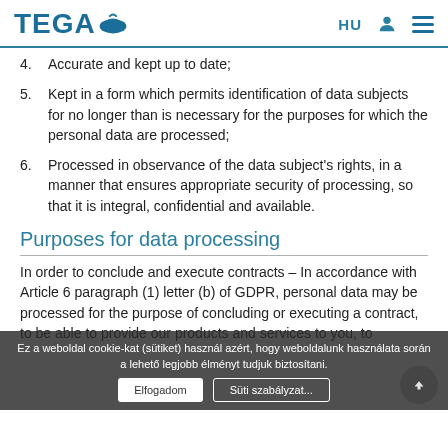TEGA | HU
4. Accurate and kept up to date;
5. Kept in a form which permits identification of data subjects for no longer than is necessary for the purposes for which the personal data are processed;
6. Processed in observance of the data subject's rights, in a manner that ensures appropriate security of processing, so that it is integral, confidential and available.
Purposes for data processing
In order to conclude and execute contracts – In accordance with Article 6 paragraph (1) letter (b) of GDPR, personal data may be processed for the purpose of concluding or executing a contract, to be able to provide our products and services to you, to...